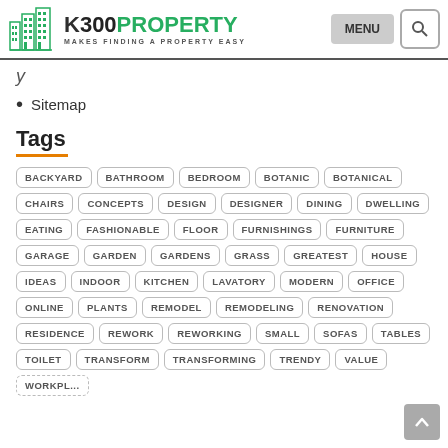K300PROPERTY — MAKES FINDING A PROPERTY EASY
Sitemap
Tags
BACKYARD, BATHROOM, BEDROOM, BOTANIC, BOTANICAL, CHAIRS, CONCEPTS, DESIGN, DESIGNER, DINING, DWELLING, EATING, FASHIONABLE, FLOOR, FURNISHINGS, FURNITURE, GARAGE, GARDEN, GARDENS, GRASS, GREATEST, HOUSE, IDEAS, INDOOR, KITCHEN, LAVATORY, MODERN, OFFICE, ONLINE, PLANTS, REMODEL, REMODELING, RENOVATION, RESIDENCE, REWORK, REWORKING, SMALL, SOFAS, TABLES, TOILET, TRANSFORM, TRANSFORMING, TRENDY, VALUE